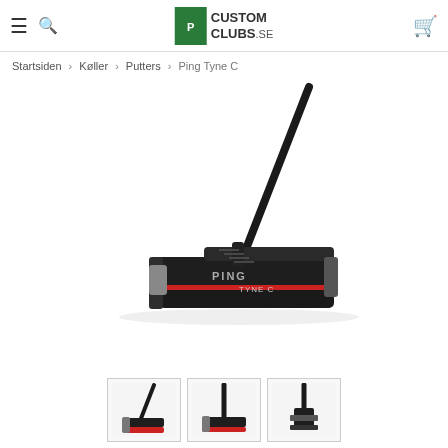Custom Clubs SE — navigation header with hamburger menu, search icon, logo, and cart icon
Startsiden › Køller › Putters › Ping Tyne C
[Figure (photo): Main product photo of a black Ping Tyne C putter with red accent stripe, shown at an angle with the clubhead resting on a white background]
[Figure (photo): Thumbnail 1: diagonal view of Ping Tyne C putter from above]
[Figure (photo): Thumbnail 2: front-facing view of Ping Tyne C putter]
[Figure (photo): Thumbnail 3: close-up rear view of Ping Tyne C putter head]